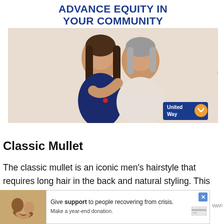[Figure (photo): United Way advertisement banner with bold blue text 'ADVANCE EQUITY IN YOUR COMMUNITY' above a photo of two women smiling and hugging, with United Way logo in bottom right corner]
Classic Mullet
The classic mullet is an iconic men's hairstyle that requires long hair in the back and natural styling. This retro haircut has been coming back for years but with a m...
[Figure (photo): Bottom advertisement overlay: Give support to people recovering from crisis. Make a year-end donation. With a small photo of holding hands on the left.]